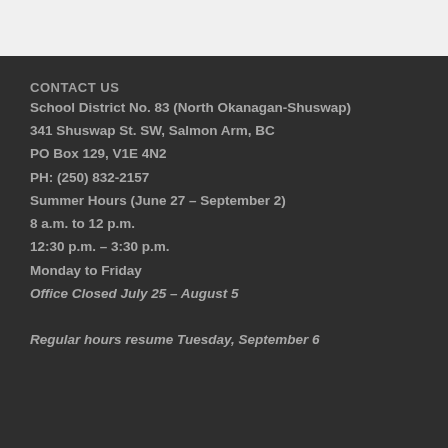CONTACT US
School District No. 83 (North Okanagan-Shuswap)
341 Shuswap St. SW, Salmon Arm, BC
PO Box 129, V1E 4N2
PH: (250) 832-2157
Summer Hours (June 27 – September 2)
8 a.m. to 12 p.m.
12:30 p.m. – 3:30 p.m.
Monday to Friday
Office Closed July 25 – August 5
Regular hours resume Tuesday, September 6